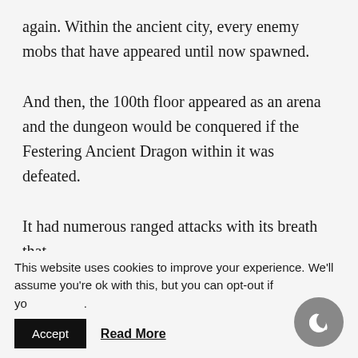again. Within the ancient city, every enemy mobs that have appeared until now spawned.
And then, the 100th floor appeared as an arena and the dungeon would be conquered if the Festering Ancient Dragon within it was defeated.
It had numerous ranged attacks with its breath that
This website uses cookies to improve your experience. We'll assume you're ok with this, but you can opt-out if you wish.
Accept
Read More